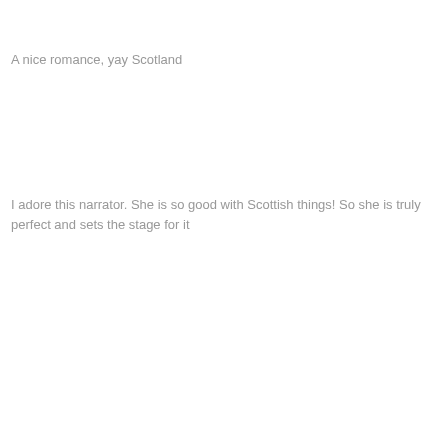A nice romance, yay Scotland
I adore this narrator. She is so good with Scottish things! So she is truly perfect and sets the stage for it